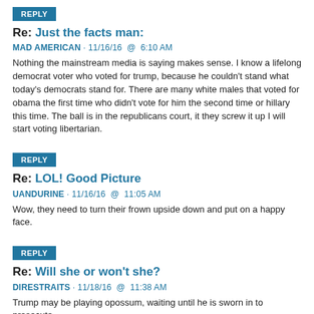REPLY
Re: Just the facts man:
MAD AMERICAN · 11/16/16  @  6:10 AM
Nothing the mainstream media is saying makes sense. I know a lifelong democrat voter who voted for trump, because he couldn't stand what today's democrats stand for. There are many white males that voted for obama the first time who didn't vote for him the second time or hillary this time. The ball is in the republicans court, it they screw it up I will start voting libertarian.
REPLY
Re: LOL! Good Picture
UANDURINE · 11/16/16  @  11:05 AM
Wow, they need to turn their frown upside down and put on a happy face.
REPLY
Re: Will she or won't she?
DIRESTRAITS · 11/18/16  @  11:38 AM
Trump may be playing opossum, waiting until he is sworn in to prosecute